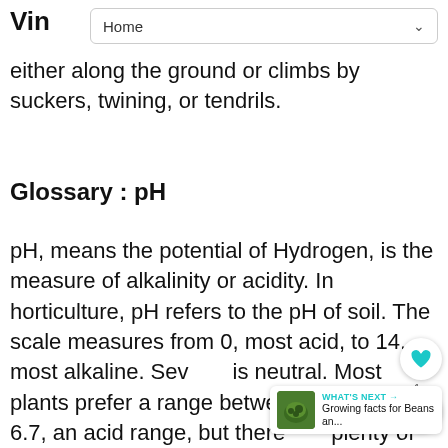Home
Vin…
either along the ground or climbs by suckers, twining, or tendrils.
Glossary : pH
pH, means the potential of Hydrogen, is the measure of alkalinity or acidity. In horticulture, pH refers to the pH of soil. The scale measures from 0, most acid, to 14, most alkaline. Seven is neutral. Most plants prefer a range between 5.5 and about 6.7, an acid range, but there are plenty of other plants that like soil more alkaline, or above 7. A pH of 7 is where a plant can most easily absorb the most nutrients in the soil. Some plants prefer more or less of